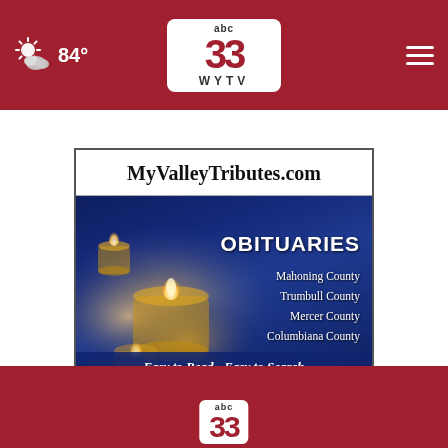84° — ABC 33 WYTV navigation bar
[Figure (screenshot): MyValleyTributes.com obituaries advertisement banner showing candles in background with text: OBITUARIES, Mahoning County, Trumbull County, Mercer County, Columbiana County, Easy to Read - Easy to Search, Local Obituaries and Calling Hours]